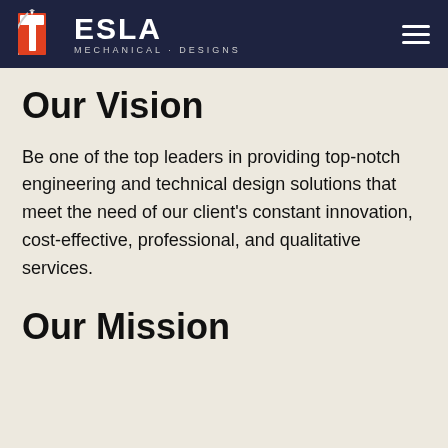[Figure (logo): Tesla Mechanical Designs logo with navigation bar on dark navy background, featuring an orange and white T-shaped icon and hamburger menu]
Our Vision
Be one of the top leaders in providing top-notch engineering and technical design solutions that meet the need of our client's constant innovation, cost-effective, professional, and qualitative services.
Our Mission